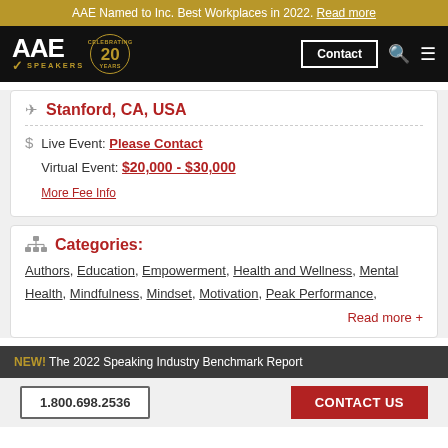AAE Named to Inc. Best Workplaces in 2022. Read more
[Figure (logo): AAE Speakers logo with '20 Years Celebrating' badge on black navigation bar with Contact button]
Stanford, CA, USA
Live Event: Please Contact
Virtual Event: $20,000 - $30,000
More Fee Info
Categories:
Authors, Education, Empowerment, Health and Wellness, Mental Health, Mindfulness, Mindset, Motivation, Peak Performance,
Read more +
NEW! The 2022 Speaking Industry Benchmark Report
1.800.698.2536  CONTACT US